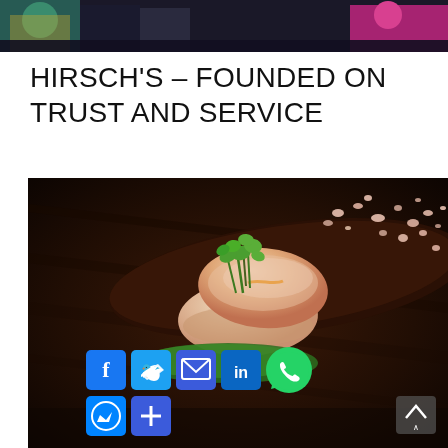[Figure (photo): Top portion of a photo showing people on a stage with colorful outfits against a blue/purple lit background]
HIRSCH'S – FOUNDED ON TRUST AND SERVICE
[Figure (photo): Close-up photo of sushi nigiri pieces topped with green microgreens garnish on a dark wooden plate, with pink salt crystals scattered around, served on a green leaf on a dark wooden surface. Social media share buttons overlay the bottom portion: Facebook, Twitter, Email, LinkedIn, WhatsApp, Messenger, and a More (+) button.]